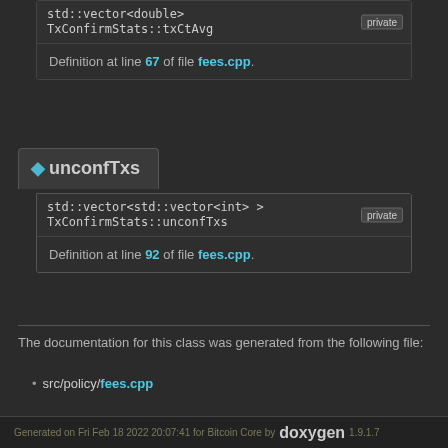std::vector<double>
TxConfirmStats::txCtAvg
private
Definition at line 67 of file fees.cpp.
◆ unconfTxs
std::vector<std::vector<int> >
TxConfirmStats::unconfTxs
private
Definition at line 92 of file fees.cpp.
The documentation for this class was generated from the following file:
src/policy/fees.cpp
Generated on Fri Feb 18 2022 20:07:41 for Bitcoin Core by doxygen 1.9.1.7